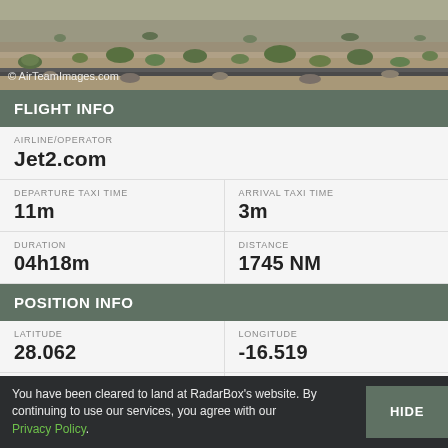[Figure (photo): Aerial/landscape photo of rocky desert terrain with sparse green shrubs, used as banner image on aviation tracking page. Watermark: © AirTeamImages.com]
FLIGHT INFO
AIRLINE/OPERATOR
Jet2.com
DEPARTURE TAXI TIME
11m
ARRIVAL TAXI TIME
3m
DURATION
04h18m
DISTANCE
1745 NM
POSITION INFO
LATITUDE
28.062
LONGITUDE
-16.519
ALTITUDE
GROUND SPEED
You have been cleared to land at RadarBox's website. By continuing to use our services, you agree with our Privacy Policy.